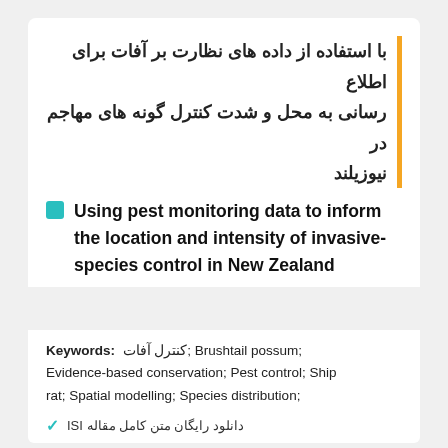با استفاده از داده های نظارت بر آفات برای اطلاع رسانی به محل و شدت کنترل گونه های مهاجم در نیوزیلند
Using pest monitoring data to inform the location and intensity of invasive-species control in New Zealand
Keywords: کنترل آفات; Brushtail possum; Evidence-based conservation; Pest control; Ship rat; Spatial modelling; Species distribution;
دانلود رایگان متن کامل مقاله ISI